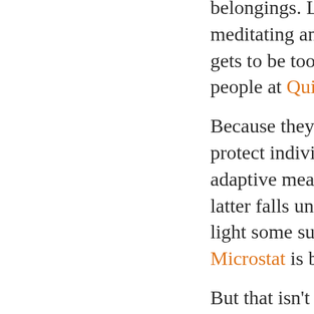belongings. Let's wat meditating and you r gets to be too big to people at Quick Edge
Because they do not protect individuals wh adaptive means. One latter falls under the light some surprising Microstat is brimming
But that isn't the only news to many Canadi research study on ho internationally. Solan one or two signature new. And then, out of tube for me. Head on relevant, and designe